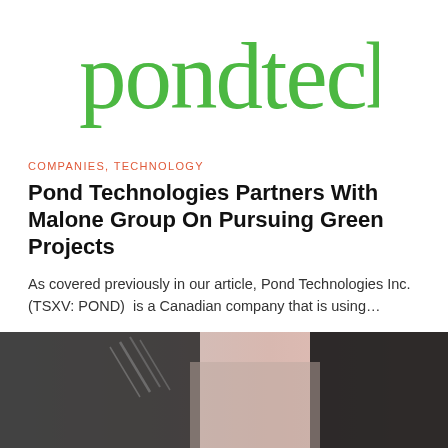[Figure (logo): Pond Tech logo in green with lowercase letters 'pondtech']
COMPANIES, TECHNOLOGY
Pond Technologies Partners With Malone Group On Pursuing Green Projects
As covered previously in our article, Pond Technologies Inc. (TSXV: POND)  is a Canadian company that is using…
November 2, 2021
[Figure (photo): Black and white photo of two people in suits shaking hands with a pinkish sky background]